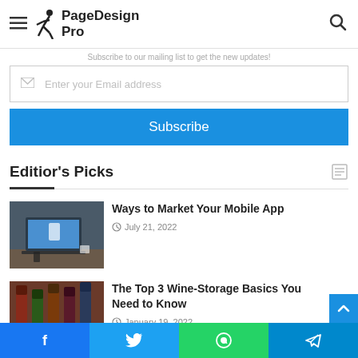PageDesign Pro
Newsletter
Subscribe to our mailing list to get the new updates!
Enter your Email address
Subscribe
Editior's Picks
Ways to Market Your Mobile App
July 21, 2022
[Figure (photo): Laptop and mobile devices on a desk]
The Top 3 Wine-Storage Basics You Need to Know
January 19, 2022
[Figure (photo): Wine bottles in storage]
Facebook | Twitter | WhatsApp | Telegram social share bar